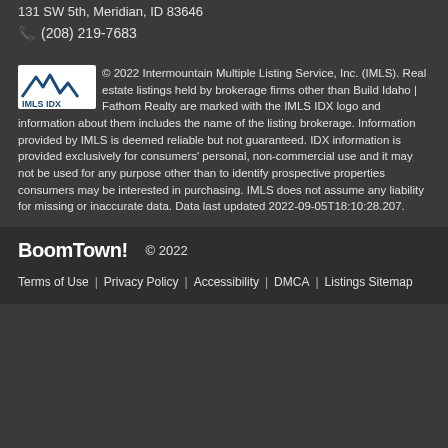131 SW 5th, Meridian, ID 83646
(208) 219-7683
© 2022 Intermountain Multiple Listing Service, Inc. (IMLS). Real estate listings held by brokerage firms other than Build Idaho | Fathom Realty are marked with the IMLS IDX logo and information about them includes the name of the listing brokerage. Information provided by IMLS is deemed reliable but not guaranteed. IDX information is provided exclusively for consumers' personal, non-commercial use and it may not be used for any purpose other than to identify prospective properties consumers may be interested in purchasing. IMLS does not assume any liability for missing or inaccurate data. Data last updated 2022-09-05T18:10:28.207.
BoomTown! © 2022 | Terms of Use | Privacy Policy | Accessibility | DMCA | Listings Sitemap